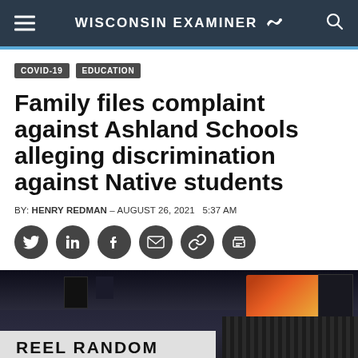WISCONSIN EXAMINER
COVID-19
EDUCATION
Family files complaint against Ashland Schools alleging discrimination against Native students
BY: HENRY REDMAN – AUGUST 26, 2021   5:37 AM
[Figure (other): Social media sharing icons: Twitter, LinkedIn, Facebook, Email, Link, Print]
[Figure (photo): Indoor arena or gymnasium scoreboard displaying 'REEL RANDOM' text, with ceiling structures and display screens visible in the background.]